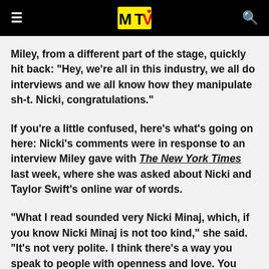MTV (logo header with menu and search icons)
Miley, from a different part of the stage, quickly hit back: "Hey, we're all in this industry, we all do interviews and we all know how they manipulate sh-t. Nicki, congratulations."
If you're a little confused, here's what's going on here: Nicki's comments were in response to an interview Miley gave with The New York Times last week, where she was asked about Nicki and Taylor Swift's online war of words.
"What I read sounded very Nicki Minaj, which, if you know Nicki Minaj is not too kind," she said. "It's not very polite. I think there's a way you speak to people with openness and love. You don't have to start this pop star against pop star war. It became Nicki Minaj and Taylor in